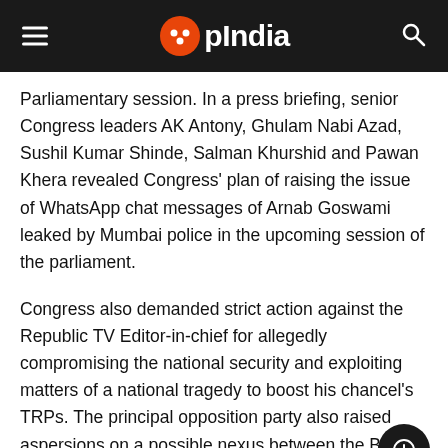OpIndia
Parliamentary session. In a press briefing, senior Congress leaders AK Antony, Ghulam Nabi Azad, Sushil Kumar Shinde, Salman Khurshid and Pawan Khera revealed Congress' plan of raising the issue of WhatsApp chat messages of Arnab Goswami leaked by Mumbai police in the upcoming session of the parliament.
Congress also demanded strict action against the Republic TV Editor-in-chief for allegedly compromising the national security and exploiting matters of a national tragedy to boost his chancel's TRPs. The principal opposition party also raised aspersions on a possible nexus between the BJP and the Republic